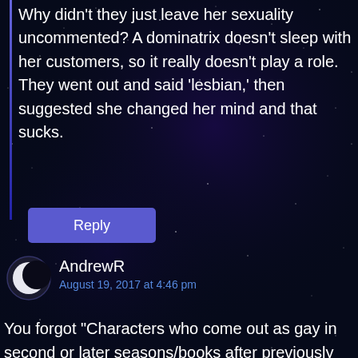Why didn't they just leave her sexuality uncommented? A dominatrix doesn't sleep with her customers, so it really doesn't play a role. They went out and said 'lesbian,' then suggested she changed her mind and that sucks.
Reply
AndrewR
August 19, 2017 at 4:46 pm
You forgot “Characters who come out as gay in second or later seasons/books after previously being in happy heterosexual relationships”.